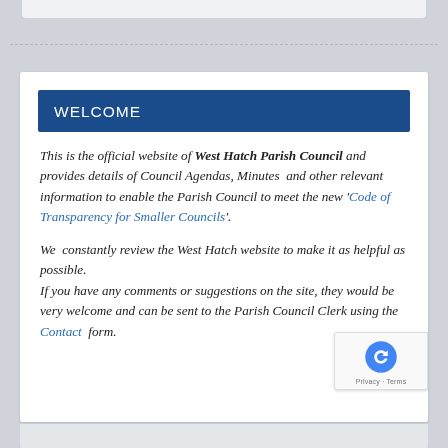WELCOME
This is the official website of West Hatch Parish Council and provides details of Council Agendas, Minutes and other relevant information to enable the Parish Council to meet the new 'Code of Transparency for Smaller Councils'.
We constantly review the West Hatch website to make it as helpful as possible. If you have any comments or suggestions on the site, they would be very welcome and can be sent to the Parish Council Clerk using the Contact form.